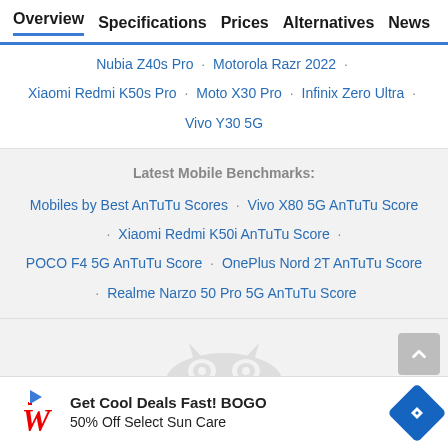Overview  Specifications  Prices  Alternatives  News
Nubia Z40s Pro · Motorola Razr 2022 · Xiaomi Redmi K50s Pro · Moto X30 Pro · Infinix Zero Ultra · Vivo Y30 5G
Latest Mobile Benchmarks:
Mobiles by Best AnTuTu Scores · Vivo X80 5G AnTuTu Score · Xiaomi Redmi K50i AnTuTu Score · POCO F4 5G AnTuTu Score · OnePlus Nord 2T AnTuTu Score · Realme Narzo 50 Pro 5G AnTuTu Score
[Figure (logo): Owl watermark logo in light gray]
Get Cool Deals Fast! BOGO 50% Off Select Sun Care